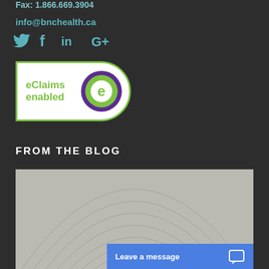Fax: 1.866.669.3904
info@bnchealth.ca
[Figure (illustration): Social media icons: Twitter bird, Facebook f, LinkedIn in, Google G+]
[Figure (logo): eClaims enabled badge - white rounded rectangle with green border, showing 'eClaims enabled' text in green and a circular purple/green eClaims logo]
FROM THE BLOG
[Figure (photo): Zen sand garden with concentric circular patterns raked in light grey sand]
Leave a message